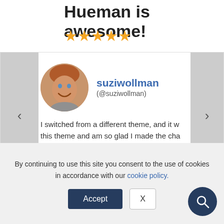Hueman is awesome!
[Figure (other): Five gold star rating icons]
[Figure (photo): Circular avatar photo of suziwollman, a smiling woman with short reddish-brown hair]
suziwollman (@suziwollman)
I switched from a different theme, and it w... this theme and am so glad I made the cha...
By continuing to use this site you consent to the use of cookies in accordance with our cookie policy.
Accept
X